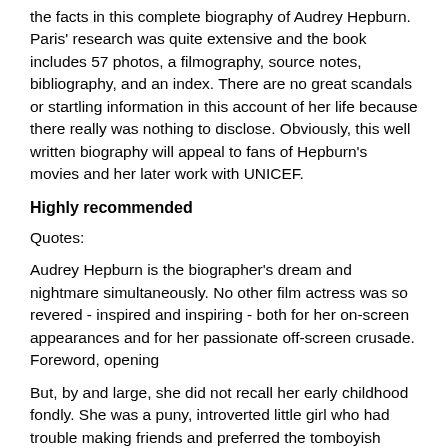the facts in this complete biography of Audrey Hepburn. Paris' research was quite extensive and the book includes 57 photos, a filmography, source notes, bibliography, and an index. There are no great scandals or startling information in this account of her life because there really was nothing to disclose. Obviously, this well written biography will appeal to fans of Hepburn's movies and her later work with UNICEF.
Highly recommended
Quotes:
Audrey Hepburn is the biographer's dream and nightmare simultaneously. No other film actress was so revered - inspired and inspiring - both for her on-screen appearances and for her passionate off-screen crusade. Foreword, opening
But, by and large, she did not recall her early childhood fondly. She was a puny, introverted little girl who had trouble making friends and preferred the tomboyish companionship of her much older half-brothers. She cared much less for dolls, which "never seemed real to me," she said, than for